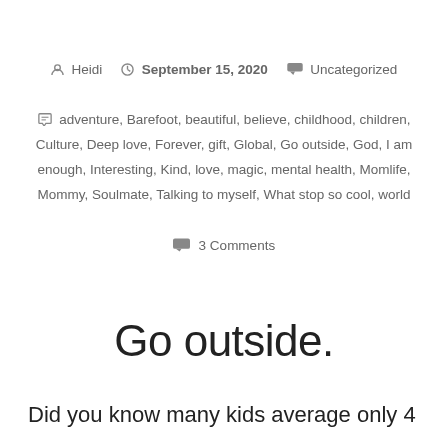Heidi  September 15, 2020  Uncategorized
adventure, Barefoot, beautiful, believe, childhood, children, Culture, Deep love, Forever, gift, Global, Go outside, God, I am enough, Interesting, Kind, love, magic, mental health, Momlife, Mommy, Soulmate, Talking to myself, What stop so cool, world
3 Comments
Go outside.
Did you know many kids average only 4